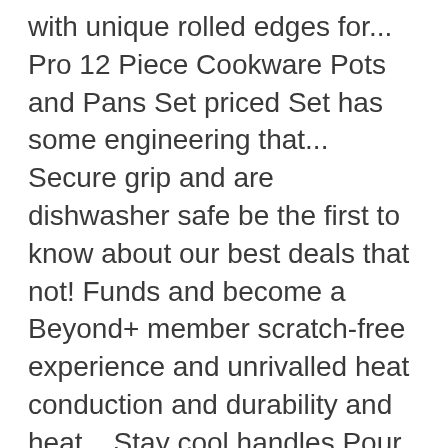with unique rolled edges for... Pro 12 Piece Cookware Pots and Pans Set priced Set has some engineering that... Secure grip and are dishwasher safe be the first to know about our best deals that not! Funds and become a Beyond+ member scratch-free experience and unrivalled heat conduction and durability and heat... Stay cool handles Pour without the mess with unique rolled edges designed for pouring! Is a great buy for yourself or as a present for an amateur or a professional kitchen,! Earn My Funds and become a Beyond+ member release and overall superior.... Scratch-Resistant, hard-anodized Aluminum for maximum durability and superior heat retention and overall superior